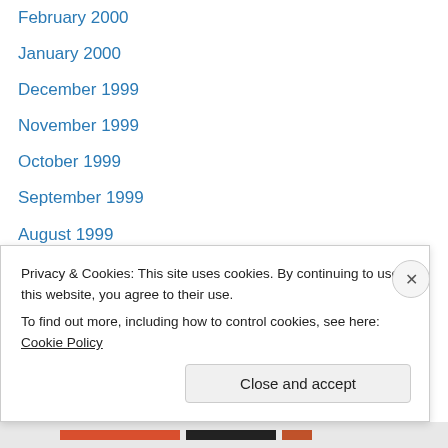February 2000
January 2000
December 1999
November 1999
October 1999
September 1999
August 1999
July 1999
May 1999
April 1999
March 1999
February 1999
January 1999
December 1998
Privacy & Cookies: This site uses cookies. By continuing to use this website, you agree to their use. To find out more, including how to control cookies, see here: Cookie Policy